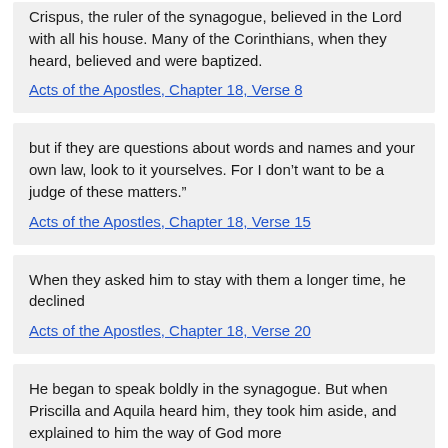Crispus, the ruler of the synagogue, believed in the Lord with all his house. Many of the Corinthians, when they heard, believed and were baptized.
Acts of the Apostles, Chapter 18, Verse 8
but if they are questions about words and names and your own law, look to it yourselves. For I don't want to be a judge of these matters.”
Acts of the Apostles, Chapter 18, Verse 15
When they asked him to stay with them a longer time, he declined
Acts of the Apostles, Chapter 18, Verse 20
He began to speak boldly in the synagogue. But when Priscilla and Aquila heard him, they took him aside, and explained to him the way of God more